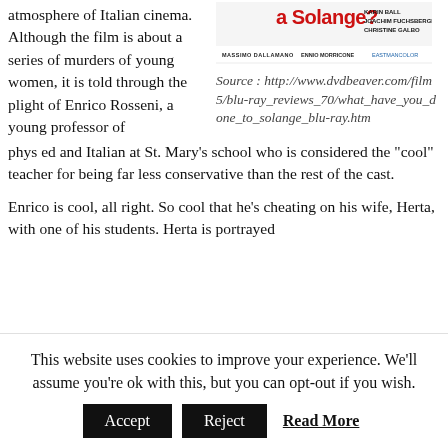atmosphere of Italian cinema. Although the film is about a series of murders of young women, it is told through the plight of Enrico Rosseni, a young professor of phys ed and Italian at St. Mary's school who is considered the "cool" teacher for being far less conservative than the rest of the cast.
[Figure (illustration): Movie poster for 'What Have You Done to Solange?' showing title text in red with cast names including Karin Ball, Joachim Fuchsberger, Christine Galbo. Below: Massimo Dallamano, Ennio Morricone, Eastmancolor.]
Source : http://www.dvdbeaver.com/film5/blu-ray_reviews_70/what_have_you_done_to_solange_blu-ray.htm
Enrico is cool, all right. So cool that he's cheating on his wife, Herta, with one of his students. Herta is portrayed
This website uses cookies to improve your experience. We'll assume you're ok with this, but you can opt-out if you wish.